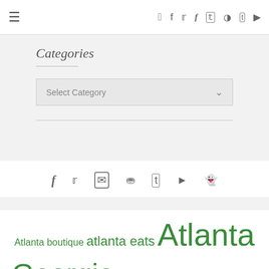≡  f  t  [instagram]  [pinterest]  t  [youtube]
Categories
Select Category
[Figure (other): Social media icon bar with facebook, twitter, instagram, pinterest, tumblr, youtube, snapchat icons]
Atlanta boutique  atlanta eats  Atlanta Georgia  Atlanta shop  Back to school  Birthday party  Breckenridge  Caren West  Chooka Boots  Christmas card photo style  Classroom Valentines  connort  Date night in Atlanta  Eating out with kids  ellasue  farmersmarket  Florida  Georgia